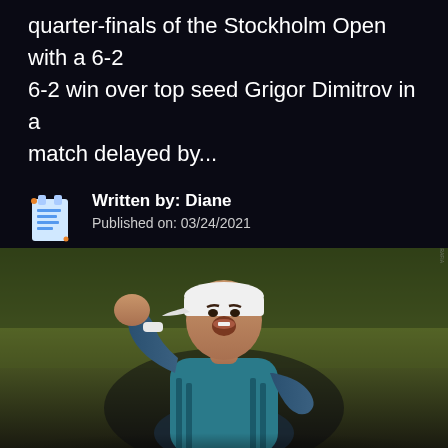quarter-finals of the Stockholm Open with a 6-2 6-2 win over top seed Grigor Dimitrov in a match delayed by...
Written by: Diane
Published on: 03/24/2021
[Figure (photo): Tennis player celebrating on court, wearing white cap, teal/blue shirt, raising fist in victory. Photo taken on an outdoor court with olive/green background.]